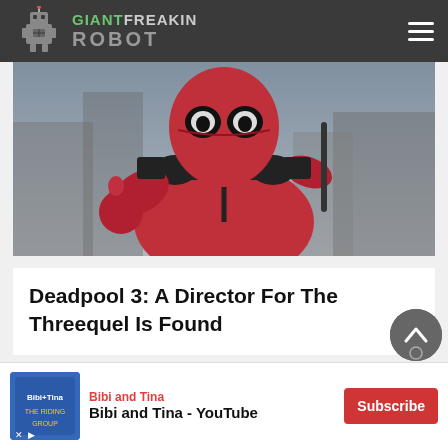GIANT FREAKIN ROBOT
[Figure (photo): Deadpool character in red and black suit giving thumbs up, action figure or movie still photo]
Deadpool 3: A Director For The Threequel Is Found
[Figure (infographic): Advertisement banner: Bibi and Tina YouTube channel with Subscribe button]